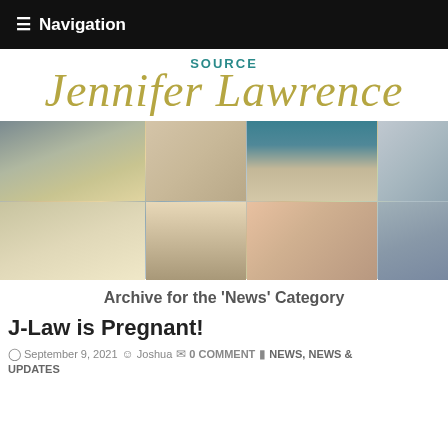≡ Navigation
SOURCE Jennifer Lawrence
[Figure (photo): Collage of multiple photos of Jennifer Lawrence in various outfits and settings]
Archive for the 'News' Category
J-Law is Pregnant!
September 9, 2021  Joshua  0 COMMENT  NEWS, NEWS & UPDATES